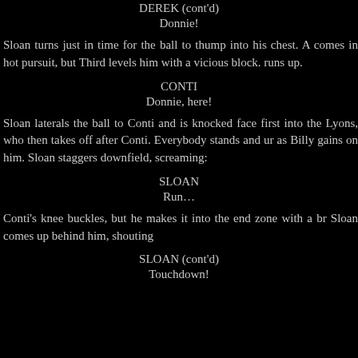DEREK (cont'd)
Donnie!
Sloan turns just in time for the ball to thump into his chest. A comes in hot pursuit, but Third levels him with a vicious block. runs up.
CONTI
Donnie, here!
Sloan laterals the ball to Conti and is knocked face first into the Lyons, who then takes off after Conti. Everybody stands and ur as Billy gains on him. Sloan staggers downfield, screaming:
SLOAN
Run…
Conti's knee buckles, but he makes it into the end zone with a br Sloan comes up behind him, shouting
SLOAN (cont'd)
Touchdown!